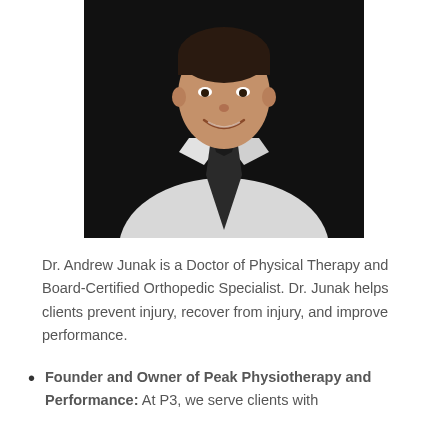[Figure (photo): Professional headshot of Dr. Andrew Junak, a man in a white dress shirt and dark tie, smiling, against a dark background.]
Dr. Andrew Junak is a Doctor of Physical Therapy and Board-Certified Orthopedic Specialist. Dr. Junak helps clients prevent injury, recover from injury, and improve performance.
Founder and Owner of Peak Physiotherapy and Performance: At P3, we serve clients with